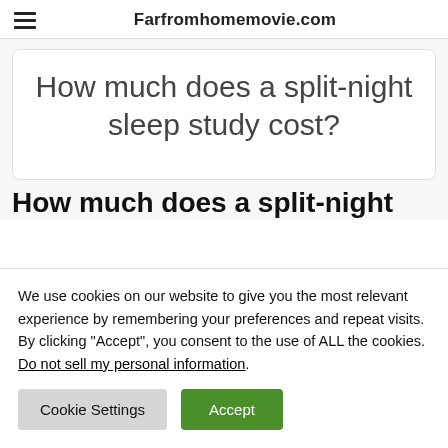Farfromhomemovie.com
How much does a split-night sleep study cost?
How much does a split-night
We use cookies on our website to give you the most relevant experience by remembering your preferences and repeat visits. By clicking “Accept”, you consent to the use of ALL the cookies. Do not sell my personal information.
Cookie Settings
Accept